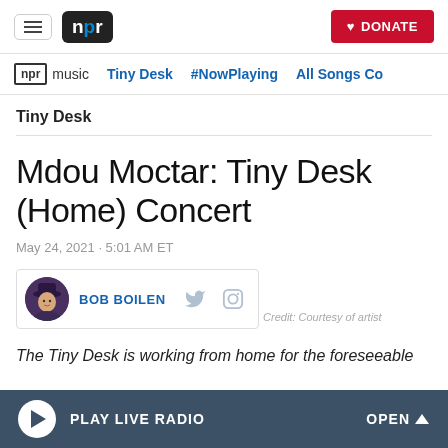NPR — DONATE
npr music  Tiny Desk  #NowPlaying  All Songs Co
Tiny Desk
Mdou Moctar: Tiny Desk (Home) Concert
May 24, 2021 · 5:01 AM ET
BOB BOILEN
Credit: Courtesy of artist
The Tiny Desk is working from home for the foreseeable
PLAY LIVE RADIO  OPEN ^